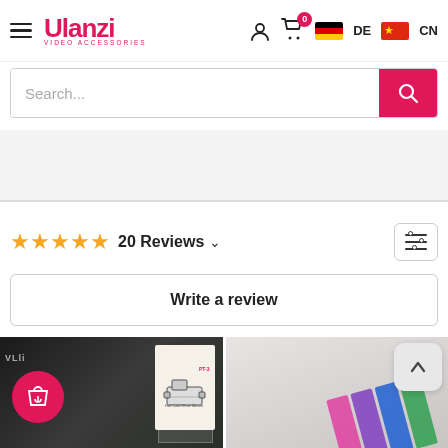[Figure (screenshot): Ulanzi video accessories website header with hamburger menu, logo, person icon, cart with 0 badge, German flag with DE label, and Chinese flag with CN label]
[Figure (screenshot): Search bar with placeholder text 'Search...' and pink/red search button with magnifying glass icon]
20 Reviews
[Figure (screenshot): Write a review button with border]
[Figure (photo): Left product image showing Ulanzi PT-3 Hot Cold Shoe Mount box on dark background with a red circle shopping bag with heart icon overlay]
[Figure (photo): Right product image showing colored gel filter cards (pink, purple, blue, green) on light gray background with back-to-top arrow button overlay]